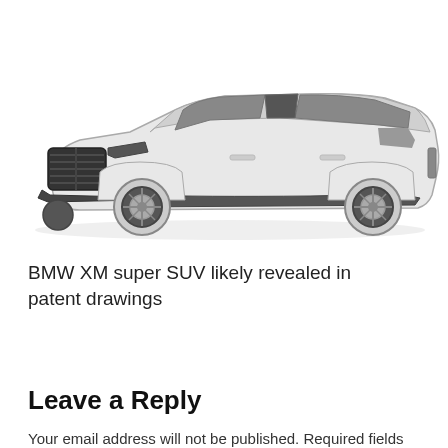[Figure (illustration): Side profile patent-style illustration of a BMW XM super SUV in light gray/white color on white background, showing the full vehicle from a 3/4 front-left angle. The large kidney grille and squared-off body lines are prominent.]
BMW XM super SUV likely revealed in patent drawings
Leave a Reply
Your email address will not be published. Required fields